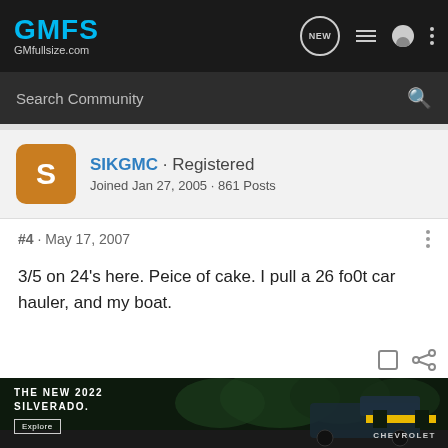GMFS GMfullsize.com
Search Community
SIKGMC · Registered
Joined Jan 27, 2005 · 861 Posts
#4 · May 17, 2007
3/5 on 24's here. Peice of cake. I pull a 26 fo0t car hauler, and my boat.
[Figure (photo): Advertisement banner for the New 2022 Silverado by Chevrolet, showing a dark truck on a road with trees in background, with an Explore button.]